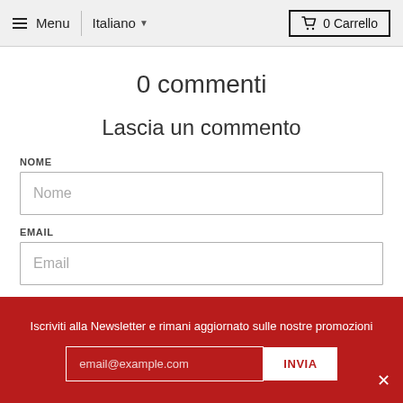≡ Menu  |  Italiano ▼  🛒 0 Carrello
0 commenti
Lascia un commento
NOME
Nome
EMAIL
Email
MESSAGGIO
Messaggio
Iscriviti alla Newsletter e rimani aggiornato sulle nostre promozioni
email@example.com
INVIA